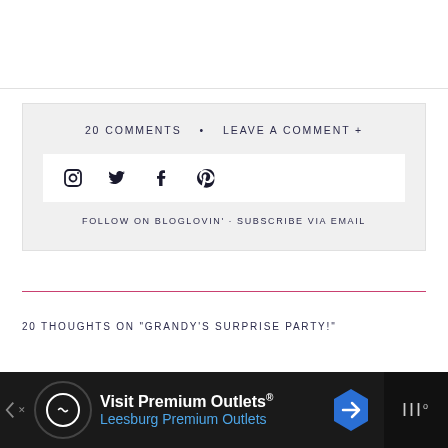20 COMMENTS  •  LEAVE A COMMENT +
[Figure (other): Social media icons bar with Instagram, Twitter, Facebook, Pinterest icons on white background]
FOLLOW ON BLOGLOVIN' · SUBSCRIBE VIA EMAIL
20 THOUGHTS ON "GRANDY'S SURPRISE PARTY!"
[Figure (other): Advertisement banner: Visit Premium Outlets® Leesburg Premium Outlets with logo and navigation icons on dark background]